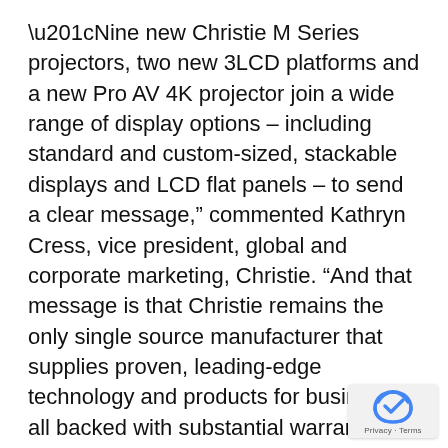“Nine new Christie M Series projectors, two new 3LCD platforms and a new Pro AV 4K projector join a wide range of display options – including standard and custom-sized, stackable displays and LCD flat panels – to send a clear message,” commented Kathryn Cress, vice president, global and corporate marketing, Christie. “And that message is that Christie remains the only single source manufacturer that supplies proven, leading-edge technology and products for business, all backed with substantial warranties and industry-leading service and support.”
Designed for small-to-medium sized venues in higher education, corporate environments and government agencies, the new Christie projectors LW401, LWU, LWU501i and LW551i (3LCD) projectors all feature screen capabilities and provide various resolutions and